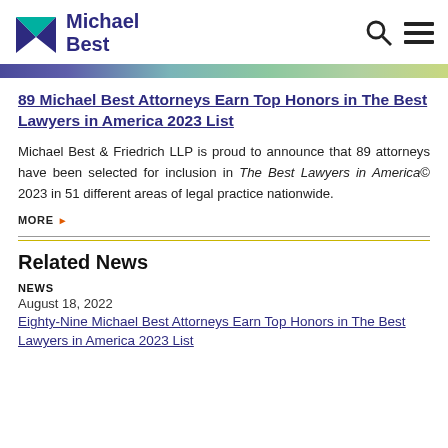Michael Best
[Figure (other): Gradient color bar — left to right from purple/blue to green/yellow-green]
89 Michael Best Attorneys Earn Top Honors in The Best Lawyers in America 2023 List
Michael Best & Friedrich LLP is proud to announce that 89 attorneys have been selected for inclusion in The Best Lawyers in America© 2023 in 51 different areas of legal practice nationwide.
MORE ▶
Related News
NEWS
August 18, 2022
Eighty-Nine Michael Best Attorneys Earn Top Honors in The Best Lawyers in America 2023 List